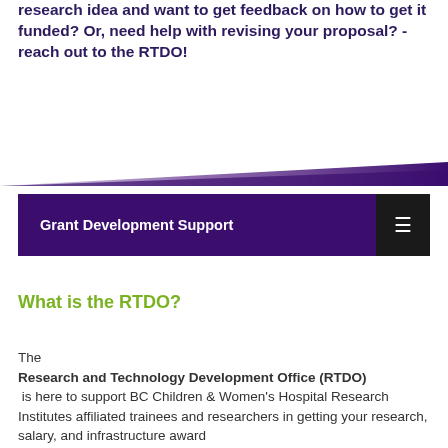research idea and want to get feedback on how to get it funded? Or, need help with revising your proposal? - reach out to the RTDO!
[Figure (illustration): Diagonal purple gradient decorative bar spanning full width]
Grant Development Support
What is the RTDO?
The Research and Technology Development Office (RTDO) is here to support BC Children & Women's Hospital Research Institutes affiliated trainees and researchers in getting your research, salary, and infrastructure award